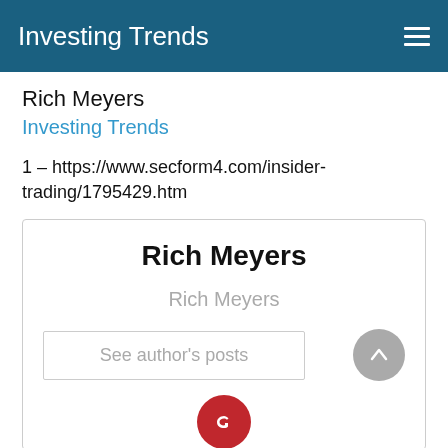Investing Trends
Rich Meyers
Investing Trends
1 – https://www.secform4.com/insider-trading/1795429.htm
Rich Meyers
Rich Meyers
See author's posts